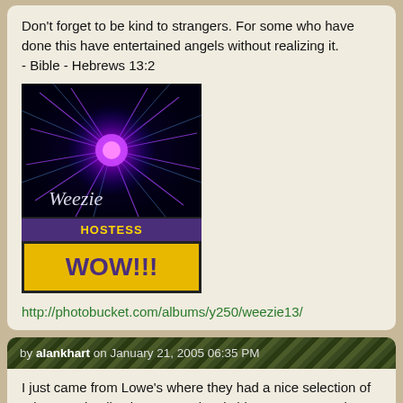Don't forget to be kind to strangers. For some who have done this have entertained angels without realizing it.
- Bible - Hebrews 13:2
[Figure (illustration): Avatar image with purple/dark cosmic burst effect and cursive 'Weezie' text, followed by a dark purple 'Hostess' badge and a gold 'WOW!!!' badge below]
http://photobucket.com/albums/y250/weezie13/
by alankhart on January 21, 2005 06:35 PM
I just came from Lowe's where they had a nice selection of primroses in all colors...I was just itching to get some, but I resisted. I did however get a nice Kalanchoe instead...I have much better luck with them being they are a type of succulent